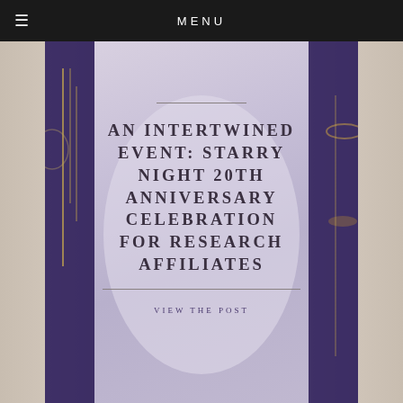MENU
[Figure (photo): Elegant event table setting with dark navy tablecloth, gold charger plates, crystal glassware, and purple lighting, with a frosted oval overlay in the center showing the event title text.]
AN INTERTWINED EVENT: STARRY NIGHT 20TH ANNIVERSARY CELEBRATION FOR RESEARCH AFFILIATES
VIEW THE POST